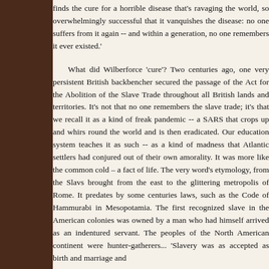finds the cure for a horrible disease that's ravaging the world, so overwhelmingly successful that it vanquishes the disease: no one suffers from it again -- and within a generation, no one remembers it ever existed.'
What did Wilberforce 'cure'? Two centuries ago, one very persistent British backbencher secured the passage of the Act for the Abolition of the Slave Trade throughout all British lands and territories. It's not that no one remembers the slave trade; it's that we recall it as a kind of freak pandemic -- a SARS that crops up and whirs round the world and is then eradicated. Our education system teaches it as such -- as a kind of madness that Atlantic settlers had conjured out of their own amorality. It was more like the common cold – a fact of life. The very word's etymology, from the Slavs brought from the east to the glittering metropolis of Rome. It predates by some centuries laws, such as the Code of Hammurabi in Mesopotamia. The first recognized slave in the American colonies was owned by a man who had himself arrived as an indentured servant. The peoples of the North American continent were hunter-gatherers... 'Slavery was as accepted as birth and marriage and